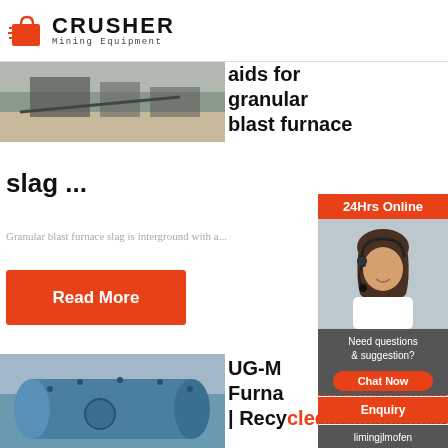[Figure (logo): Crusher Mining Equipment logo with red shopping bag icon and bold CRUSHER text]
[Figure (photo): Outdoor mining/crusher site with machinery and gravel]
aids for granular blast furnace slag ...
Granular blast furnace slag is interground with a...
Read More
[Figure (photo): Blue industrial ball mill machine outdoors]
UG-M Furna | Recycled
[Figure (photo): Customer service representative with headset - 24Hrs Online sidebar]
24Hrs Online
Need questions & suggestion?
Chat Now
Enquiry
limingjlmofen@sina.com